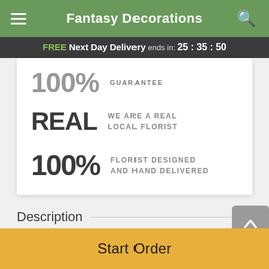Fantasy Decorations
FREE Next Day Delivery ends in: 25 : 35 : 50
100% GUARANTEE
REAL WE ARE A REAL LOCAL FLORIST
100% FLORIST DESIGNED AND HAND DELIVERED
Description
Send a delightful spring surprise! These white trumpet-shaped blooms are often considered a symbol of
Start Order